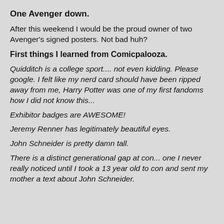[Figure (photo): Background photo of people at a convention, partially visible, overlaid with a white semi-transparent layer]
One Avenger down.
After this weekend I would be the proud owner of two Avenger's signed posters. Not bad huh?
First things I learned from Comicpalooza.
Quidditch is a college sport.... not even kidding. Please google. I felt like my nerd card should have been ripped away from me, Harry Potter was one of my first fandoms how I did not know this...
Exhibitor badges are AWESOME!
Jeremy Renner has legitimately beautiful eyes.
John Schneider is pretty damn tall.
There is a distinct generational gap at con... one I never really noticed until I took a 13 year old to con and sent my mother a text about John Schneider.